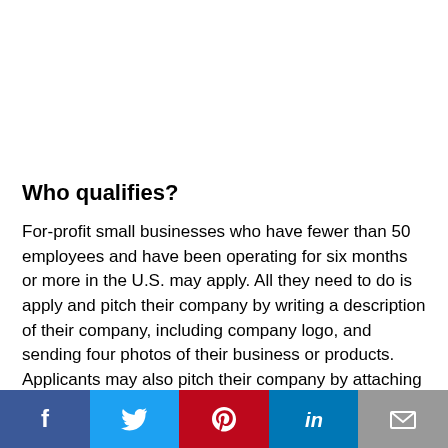Who qualifies?
For-profit small businesses who have fewer than 50 employees and have been operating for six months or more in the U.S. may apply. All they need to do is apply and pitch their company by writing a description of their company, including company logo, and sending four photos of their business or products. Applicants may also pitch their company by attaching a 60-second video about their business.
How many can win?
[Figure (infographic): Social media sharing bar at bottom with Facebook, Twitter, Pinterest, LinkedIn, and Email buttons]